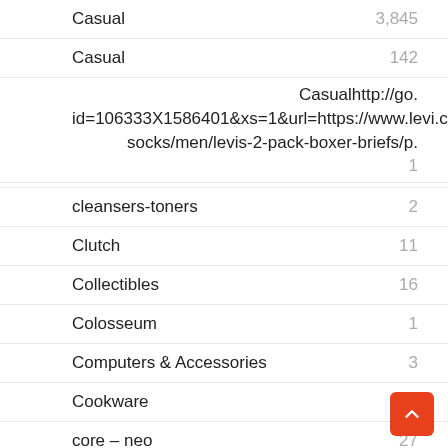Casual    3,845
Casual    142
Casualhttp://go.id=106333X1586401&xs=1&url=https://www.levi.com/US/en_USA/socks/men/levis-2-pack-boxer-briefs/p.    1
cleansers-toners    2
Clutch    11
Collectibles    16
Colosseum    1
Computers & Accessories    3
Cookware    5
core – neo    27
Cosmetics    141
Cosmetics    47
Couples Gifts